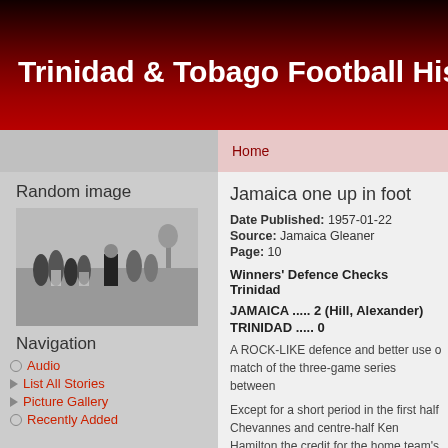Trinidad & Tobago Football Histo
Home
Random image
[Figure (photo): Black and white photograph of football players and a man in a suit on a field]
Navigation
Audio
List All Stories
Picture Gallery
Recently Added
Jamaica one up in foot
Date Published: 1957-01-22
Source: Jamaica Gleaner
Page: 10
Winners' Defence Checks Trinidad
JAMAICA ..... 2 (Hill, Alexander)
TRINIDAD ..... 0
A ROCK-LIKE defence and better use o match of the three-game series between
Except for a short period in the first half Chevannes and centre-half Ken Hamilton the credit for the home team's victory o